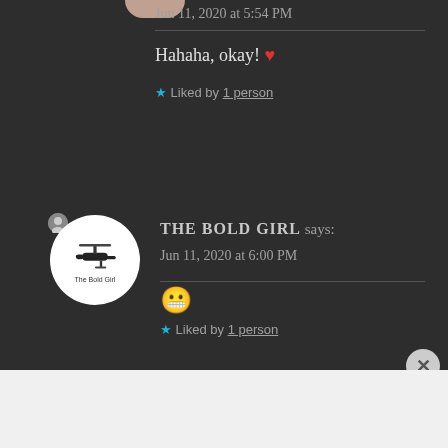Jun 11, 2020 at 5:54 PM
Hahaha, okay! ❤
★ Liked by 1 person
THE BOLD GIRL says:
Jun 11, 2020 at 6:00 PM
[Figure (photo): The Bold Girl avatar logo — circular white badge with helicopter silhouette and text 'The Bold Girl']
😬
★ Liked by 1 person
Advertisements
ThePlatform Where WordPress Works Best — Pressable